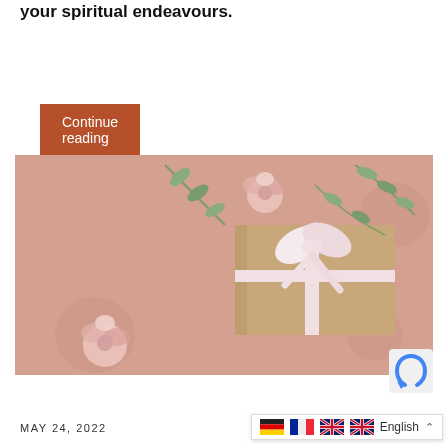your spiritual endeavours.
Continue reading
[Figure (photo): A kraft paper gift box tied with a white satin ribbon bow, surrounded by pale pink roses and green eucalyptus leaves on a dusty pink background.]
MAY 24, 2022